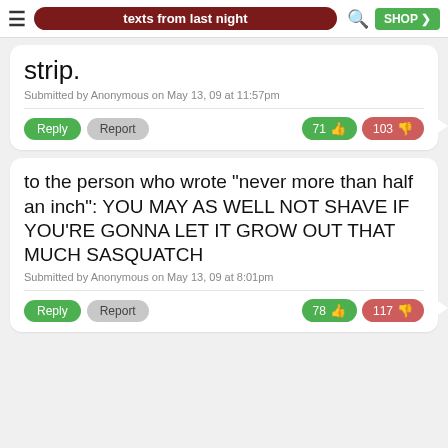texts from last night
strip.
Submitted by Anonymous on May 13, 09 at 11:57pm
Reply | Report | 71 👍 | 103 👎
to the person who wrote "never more than half an inch": YOU MAY AS WELL NOT SHAVE IF YOU'RE GONNA LET IT GROW OUT THAT MUCH SASQUATCH
Submitted by Anonymous on May 13, 09 at 8:01pm
Reply | Report | 78 👍 | 117 👎